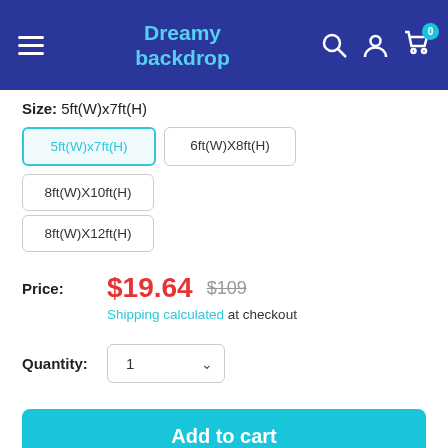Dreamy backdrop
Size: 5ft(W)x7ft(H)
5ft(W)x7ft(H)
6ft(W)X8ft(H)
8ft(W)X10ft(H)
8ft(W)X12ft(H)
Price: $19.64  $109  Shipping calculated at checkout
Quantity: 1
Add to cart